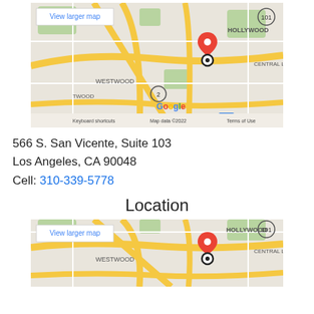[Figure (map): Google Map showing location near Westwood and Hollywood areas in Los Angeles, CA. Red pin marker with black circle marker visible. 'View larger map' link in top-left. Bottom shows 'Keyboard shortcuts', 'Map data ©2022', 'Terms of Use'.]
566 S. San Vicente, Suite 103
Los Angeles, CA 90048
Cell: 310-339-5778
Location
[Figure (map): Google Map showing same location near Westwood and Hollywood areas in Los Angeles, CA. Red pin marker with black circle marker visible. 'View larger map' link in top-left.]